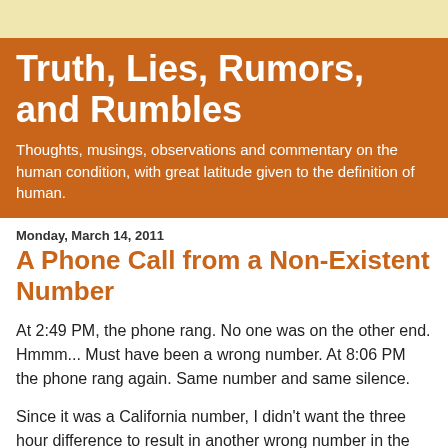Truth, Lies, Rumors, and Rumbles
Thoughts, musings, observations and commentary on the human condition, with great latitude given to the definition of human.
Monday, March 14, 2011
A Phone Call from a Non-Existent Number
At 2:49 PM, the phone rang. No one was on the other end. Hmmm... Must have been a wrong number. At 8:06 PM the phone rang again. Same number and same silence.
Since it was a California number, I didn't want the three hour difference to result in another wrong number in the middle of the night, so I called the number back. I was was greeted by